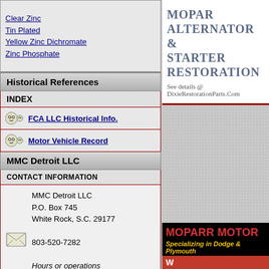Clear Zinc
Tin Plated
Yellow Zinc Dichromate
Zinc Phosphate
Historical References
INDEX
FCA LLC Historical Info.
Motor Vehicle Record
MMC Detroit LLC
CONTACT INFORMATION
MMC Detroit LLC
P.O. Box 745
White Rock, S.C. 29177

803-520-7282

Hours or operations
(M-F) 9:00am-5:00pm EST

This is the link to
our e mail address below
info@mmcdetroit.com
MOPAR ALTERNATOR & STARTER RESTORATION
See details @ DixieRestorationParts.Com
MOPARR MOTORS
Specializing in Dodge & Plymouth
W